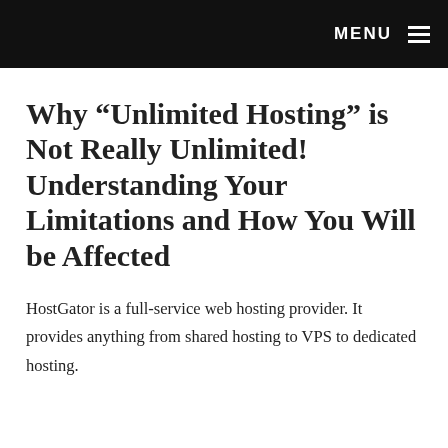MENU
Why “Unlimited Hosting” is Not Really Unlimited! Understanding Your Limitations and How You Will be Affected
HostGator is a full-service web hosting provider. It provides anything from shared hosting to VPS to dedicated hosting.